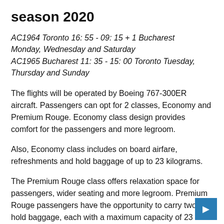season 2020
AC1964 Toronto 16: 55 - 09: 15 + 1 Bucharest Monday, Wednesday and Saturday AC1965 Bucharest 11: 35 - 15: 00 Toronto Tuesday, Thursday and Sunday
The flights will be operated by Boeing 767-300ER aircraft. Passengers can opt for 2 classes, Economy and Premium Rouge. Economy class design provides comfort for the passengers and more legroom.
Also, Economy class includes on board airfare, refreshments and hold baggage of up to 23 kilograms.
The Premium Rouge class offers relaxation space for passengers, wider seating and more legroom. Premium Rouge passengers have the opportunity to carry two hold baggage, each with a maximum capacity of 23 kilograms, respectively and have